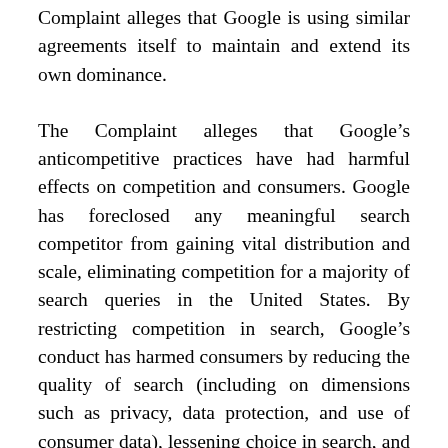Complaint alleges that Google is using similar agreements itself to maintain and extend its own dominance.
The Complaint alleges that Google's anticompetitive practices have had harmful effects on competition and consumers. Google has foreclosed any meaningful search competitor from gaining vital distribution and scale, eliminating competition for a majority of search queries in the United States. By restricting competition in search, Google's conduct has harmed consumers by reducing the quality of search (including on dimensions such as privacy, data protection, and use of consumer data), lessening choice in search, and impeding